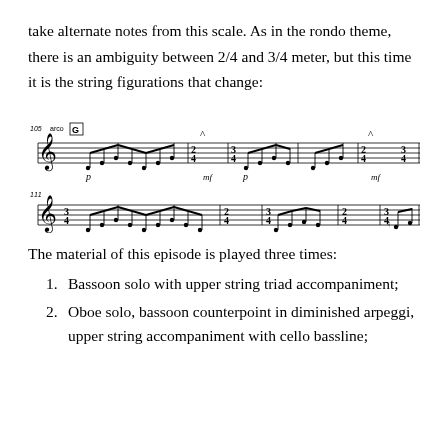take alternate notes from this scale. As in the rondo theme, there is an ambiguity between 2/4 and 3/4 meter, but this time it is the string figurations that change:
[Figure (illustration): Two staves of music notation showing alternating 2/4 and 3/4 meter with arco marking, G rehearsal letter, dynamic markings p and mf, measure numbers 105 and 111.]
The material of this episode is played three times:
Bassoon solo with upper string triad accompaniment;
Oboe solo, bassoon counterpoint in diminished arpeggi, upper string accompaniment with cello bassline;